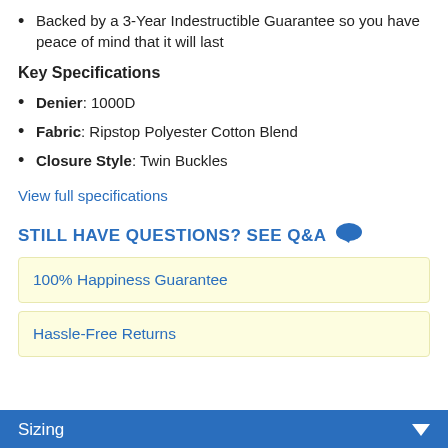Backed by a 3-Year Indestructible Guarantee so you have peace of mind that it will last
Key Specifications
Denier: 1000D
Fabric: Ripstop Polyester Cotton Blend
Closure Style: Twin Buckles
View full specifications
STILL HAVE QUESTIONS? SEE Q&A
100% Happiness Guarantee
Hassle-Free Returns
Sizing